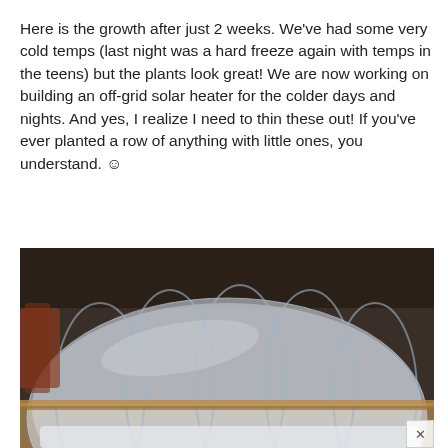Here is the growth after just 2 weeks. We've had some very cold temps (last night was a hard freeze again with temps in the teens) but the plants look great! We are now working on building an off-grid solar heater for the colder days and nights. And yes, I realize I need to thin these out! If you've ever planted a row of anything with little ones, you understand. ☺
[Figure (photo): A raised garden bed covered with a clear plastic low tunnel/row cover supported by hoops, photographed outdoors on bare soil ground. A second white/light-colored row cover or structure is partially visible at the bottom of the image.]